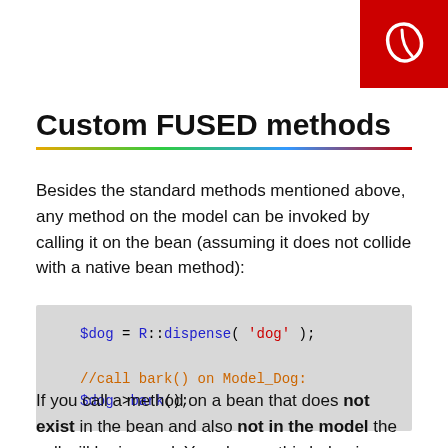[Figure (logo): Red square logo with white bean/leaf icon in top right corner]
Custom FUSED methods
Besides the standard methods mentioned above, any method on the model can be invoked by calling it on the bean (assuming it does not collide with a native bean method):
$dog = R::dispense( 'dog' );
//call bark() on Model_Dog:
$dog->bark();
If you call a method on a bean that does not exist in the bean and also not in the model the call will be ignored. You change this behaviour